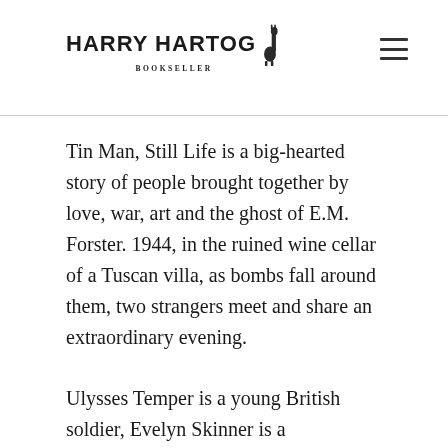Harry Hartog Bookseller
Tin Man, Still Life is a big-hearted story of people brought together by love, war, art and the ghost of E.M. Forster. 1944, in the ruined wine cellar of a Tuscan villa, as bombs fall around them, two strangers meet and share an extraordinary evening.
Ulysses Temper is a young British soldier, Evelyn Skinner is a sexagenarian art historian and possible spy. She has come to Italy to salvage paintings from the wreckage and relive memories of the time she encountered EM Forster and had her heart stolen by an Italian